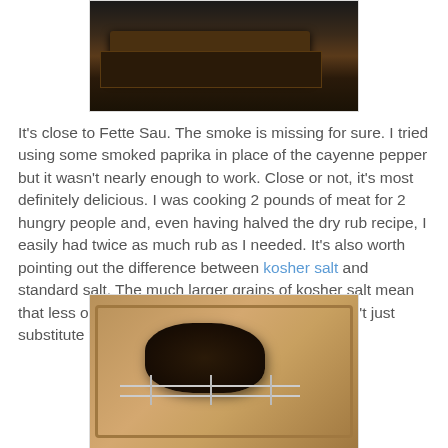[Figure (photo): Top portion of a photo showing a dark roasting pan/oven rack, heavily charred or blackened, viewed from above.]
It's close to Fette Sau. The smoke is missing for sure. I tried using some smoked paprika in place of the cayenne pepper but it wasn't nearly enough to work. Close or not, it's most definitely delicious. I was cooking 2 pounds of meat for 2 hungry people and, even having halved the dry rub recipe, I easily had twice as much rub as I needed. It's also worth pointing out the difference between kosher salt and standard salt. The much larger grains of kosher salt mean that less of them fit into a measuring cup, you can't just substitute for the same amount of table salt.
[Figure (photo): A large dark-crusted roast (brisket or similar) sitting on a wire rack inside a copper/brown roasting pan, viewed from above at an angle. The meat has a very dark, heavily seasoned exterior crust.]